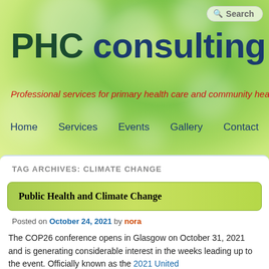[Figure (screenshot): Website header with green bokeh background, search box, site title PHC consulting, tagline, and navigation bar]
PHC consulting
Professional services for primary health care and community health
Home  Services  Events  Gallery  Contact
TAG ARCHIVES: CLIMATE CHANGE
Public Health and Climate Change
Posted on October 24, 2021 by nora
The COP26 conference opens in Glasgow on October 31, 2021 and is generating considerable interest in the weeks leading up to the event. Officially known as the 2021 United